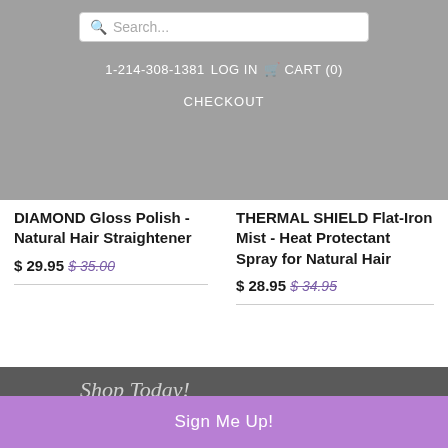Search... | 1-214-308-1381 | LOG IN | CART (0) | CHECKOUT
DIAMOND Gloss Polish - Natural Hair Straightener
$ 29.95  $ 35.00
THERMAL SHIELD Flat-Iron Mist - Heat Protectant Spray for Natural Hair
$ 28.95  $ 34.95
Shop Today!
Home
Sign Me Up!